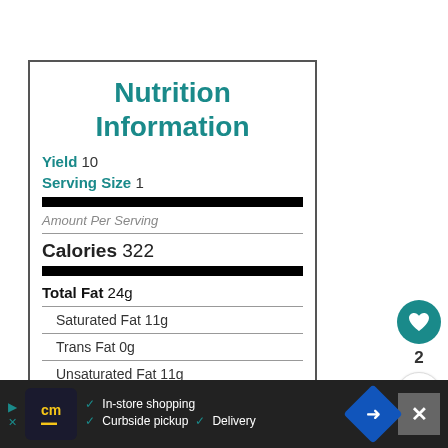Nutrition Information
Yield 10
Serving Size 1
Amount Per Serving
Calories 322
Total Fat 24g
Saturated Fat 11g
Trans Fat 0g
Unsaturated Fat 11g
Cholesterol 49mg
In-store shopping  Curbside pickup  Delivery